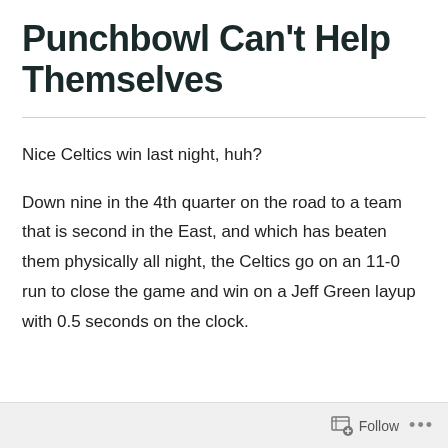Punchbowl Can't Help Themselves
Nice Celtics win last night, huh?
Down nine in the 4th quarter on the road to a team that is second in the East, and which has beaten them physically all night, the Celtics go on an 11-0 run to close the game and win on a Jeff Green layup with 0.5 seconds on the clock.
Follow